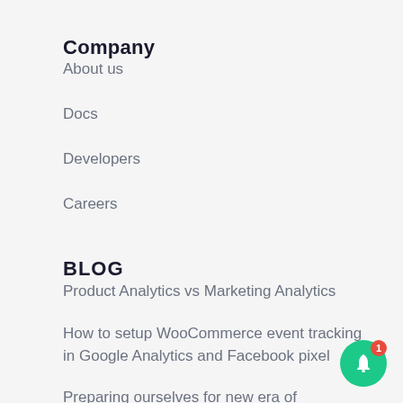Company
About us
Docs
Developers
Careers
BLOG
Product Analytics vs Marketing Analytics
How to setup WooCommerce event tracking in Google Analytics and Facebook pixel
Preparing ourselves for new era of marketing. Hint: (Being Customer Centric)